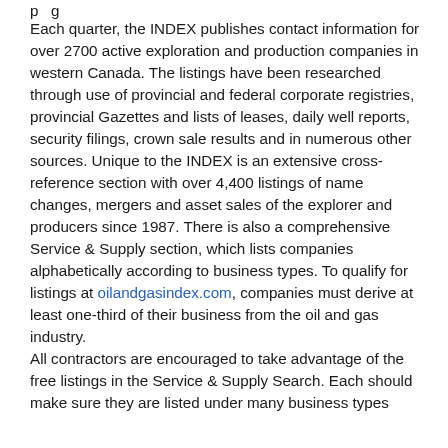Each quarter, the INDEX publishes contact information for over 2700 active exploration and production companies in western Canada. The listings have been researched through use of provincial and federal corporate registries, provincial Gazettes and lists of leases, daily well reports, security filings, crown sale results and in numerous other sources. Unique to the INDEX is an extensive cross- reference section with over 4,400 listings of name changes, mergers and asset sales of the explorer and producers since 1987. There is also a comprehensive Service & Supply section, which lists companies alphabetically according to business types. To qualify for listings at oilandgasindex.com, companies must derive at least one-third of their business from the oil and gas industry.
All contractors are encouraged to take advantage of the free listings in the Service & Supply Search. Each should make sure they are listed under many business types